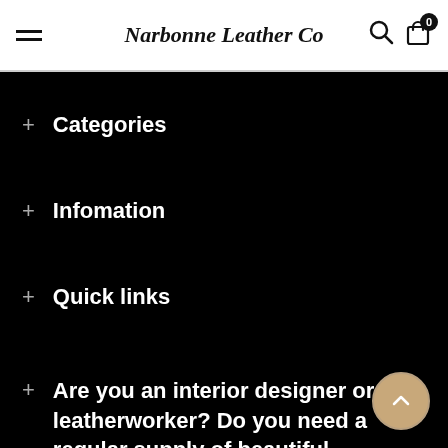Narbonne Leather Co
+ Categories
+ Infomation
+ Quick links
+ Are you an interior designer or leatherworker? Do you need a regular supply of beautiful cowhides?